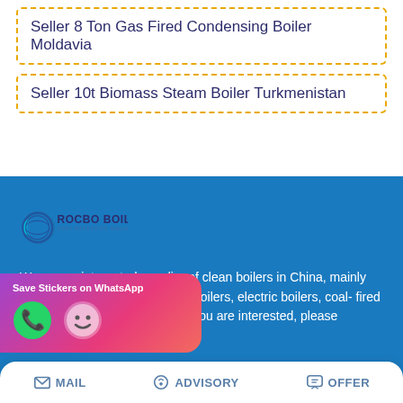Seller 8 Ton Gas Fired Condensing Boiler Moldavia
Seller 10t Biomass Steam Boiler Turkmenistan
[Figure (logo): Rocbo Boiler logo with crescent moon/globe graphic and text ROCBO BOILER COST-EFFECTIVE BOILER SUPPLIER]
We are an integrated supplier of clean boilers in China, mainly engaged in gas boilers, fuel oil boilers, electric boilers, coal-fired boilers, biomass boilers, etc. If you are interested, please
[Figure (screenshot): WhatsApp Save Stickers popup with phone and emoji icons on gradient purple-pink background]
MAIL   ADVISORY   OFFER